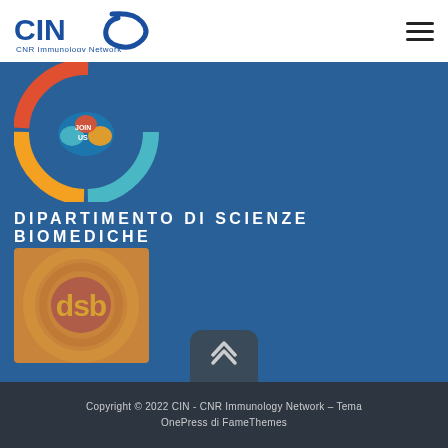CINA CNR Immunology Network
[Figure (logo): CIN - CNR Immunology Network logo with stylized arrow and text]
[Figure (illustration): JOIN US circular illustration with colorful hands joining together]
DIPARTIMENTO DI SCIENZE BIOMEDICHE
[Figure (logo): DSB - Dipartimento di Scienze Biomediche logo with gold letters]
Copyright © 2022 CIN - CNR Immunology Network – Tema OnePress di FameThemes